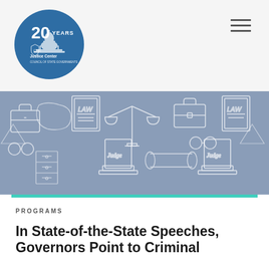[Figure (logo): Justice Center 20 Years anniversary logo — blue circle with capitol building illustration and text '20 YEARS Justice Center']
[Figure (illustration): Gray banner with white chalk-style illustrations of criminal justice icons: briefcases, scales of justice, handcuffs, law books, judge's podium, filing cabinets, diploma scrolls]
PROGRAMS
In State-of-the-State Speeches, Governors Point to Criminal